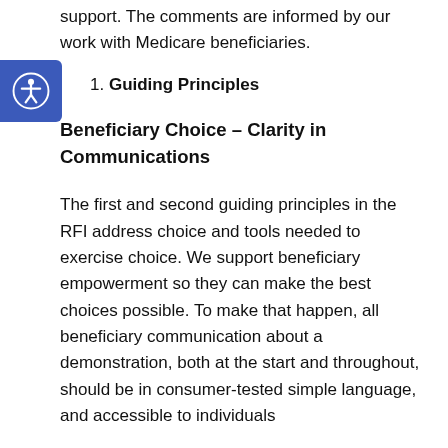support. The comments are informed by our work with Medicare beneficiaries.
1. Guiding Principles
Beneficiary Choice – Clarity in Communications
The first and second guiding principles in the RFI address choice and tools needed to exercise choice. We support beneficiary empowerment so they can make the best choices possible. To make that happen, all beneficiary communication about a demonstration, both at the start and throughout, should be in consumer-tested simple language, and accessible to individuals